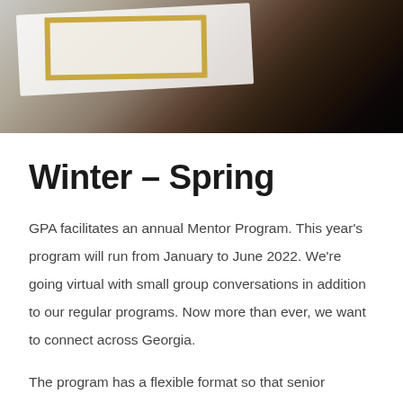[Figure (photo): Overhead photo of an open book or documents with a gold frame on a dark wooden table surface, partially obscured.]
Winter – Spring
GPA facilitates an annual Mentor Program. This year’s program will run from January to June 2022. We’re going virtual with small group conversations in addition to our regular programs. Now more than ever, we want to connect across Georgia.
The program has a flexible format so that senior